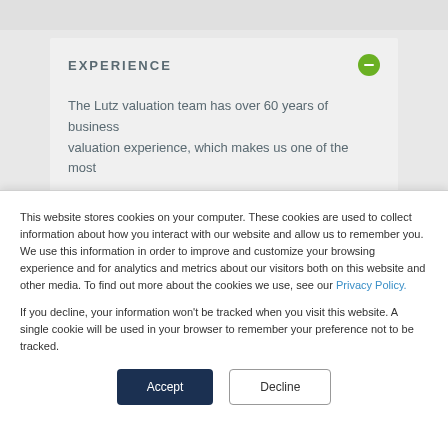EXPERIENCE
The Lutz valuation team has over 60 years of business valuation experience, which makes us one of the most
This website stores cookies on your computer. These cookies are used to collect information about how you interact with our website and allow us to remember you. We use this information in order to improve and customize your browsing experience and for analytics and metrics about our visitors both on this website and other media. To find out more about the cookies we use, see our Privacy Policy.
If you decline, your information won't be tracked when you visit this website. A single cookie will be used in your browser to remember your preference not to be tracked.